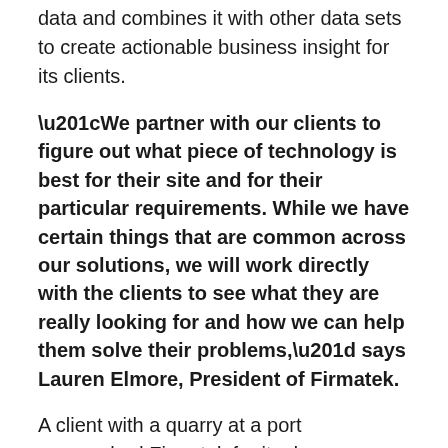data and combines it with other data sets to create actionable business insight for its clients.
“We partner with our clients to figure out what piece of technology is best for their site and for their particular requirements. While we have certain things that are common across our solutions, we will work directly with the clients to see what they are really looking for and how we can help them solve their problems,” says Lauren Elmore, President of Firmatek.
A client with a quarry at a port approached Firmatek for its drone solution when it needed an easier way to monitor a large quantity of material moved by ships at the end of every week. Firmatek provided the drones and analyzed the data, which refined the process,